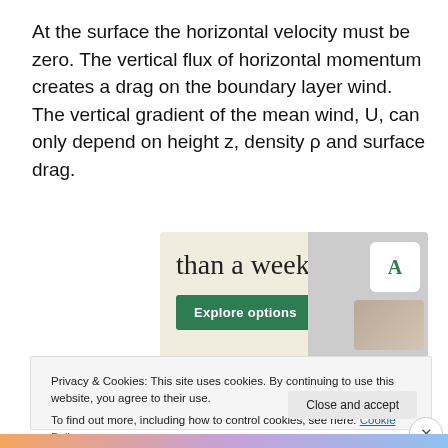At the surface the horizontal velocity must be zero. The vertical flux of horizontal momentum creates a drag on the boundary layer wind. The vertical gradient of the mean wind, U, can only depend on height z, density ρ and surface drag.
[Figure (screenshot): Advertisement banner showing 'than a week' text with an Explore options button on a cream background, with app/website UI screenshots on the right side]
Privacy & Cookies: This site uses cookies. By continuing to use this website, you agree to their use.
To find out more, including how to control cookies, see here: Cookie Policy